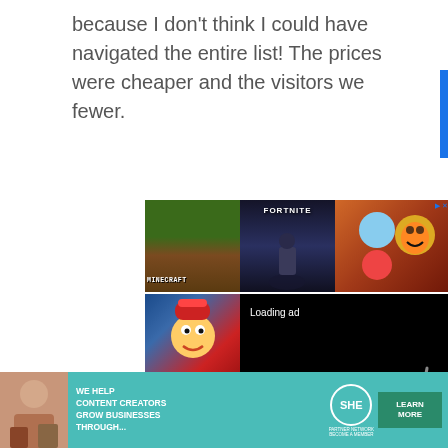because I don't think I could have navigated the entire list! The prices were cheaper and the visitors we fewer.
[Figure (screenshot): Advertisement showing mobile game thumbnails (Minecraft, Fortnite, Toca Boca) in the top row and a Subway Surfers-style game in the bottom left, with a black video loading overlay showing 'Loading ad' and a spinner, plus video playback controls (pause, fullscreen, mute)]
[Figure (screenshot): White bar with broken image icon and close X button]
[Figure (screenshot): SHE Media partner network banner advertisement with text 'WE HELP CONTENT CREATORS GROW BUSINESSES THROUGH...' and LEARN MORE button]